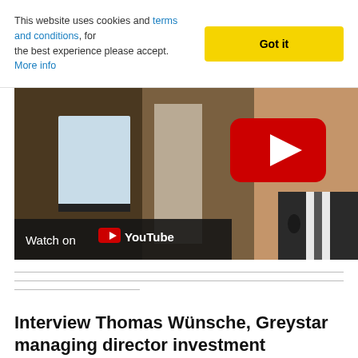This website uses cookies and terms and conditions, for the best experience please accept. More info
[Figure (screenshot): YouTube video thumbnail showing a man in a suit smiling, with a red YouTube play button overlay and a 'Watch on YouTube' bar at the bottom.]
Interview Thomas Wünsche, Greystar managing director investment